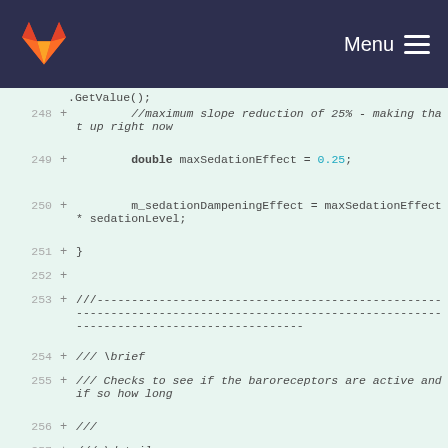Menu
[Figure (screenshot): GitLab logo (orange fox head) on dark navy header bar with Menu and hamburger icon]
.GetValue();
248  +        //maximum slope reduction of 25% - making that up right now
249  +        double maxSedationEffect = 0.25;
250  +        m_sedationDampeningEffect = maxSedationEffect * sedationLevel;
251  + }
252  +
253  + //--------------------------------------------------------------------------------------------------------------------------------------
254  + /// \brief
255  + /// Checks to see if the baroreceptors are active and if so how long
256  + ///
257  + /// \details
258  + /// The baroreceptor setpoints are updated as activity time lengthens,